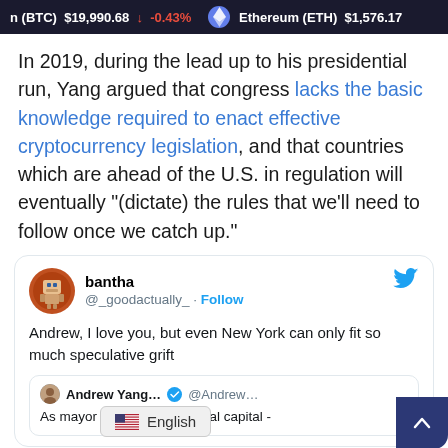n (BTC) $19,990.68 ↓ -0.43% Ethereum (ETH) $1,576.17
In 2019, during the lead up to his presidential run, Yang argued that congress lacks the basic knowledge required to enact effective cryptocurrency legislation, and that countries which are ahead of the U.S. in regulation will eventually "(dictate) the rules that we'll need to follow once we catch up."
[Figure (screenshot): Embedded tweet from @_goodactually_ (bantha) replying to a quoted tweet by Andrew Yang, saying 'Andrew, I love you, but even New York can only fit so much speculative grift'. The quoted tweet shows Andrew Yang... @Andrew... 'As mayor of NYC financial capital -']